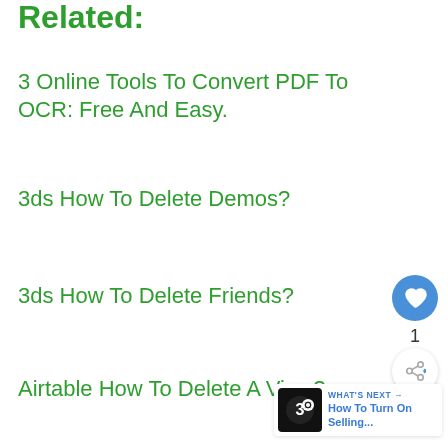Related:
3 Online Tools To Convert PDF To OCR: Free And Easy.
3ds How To Delete Demos?
3ds How To Delete Friends?
Airtable How To Delete A View?